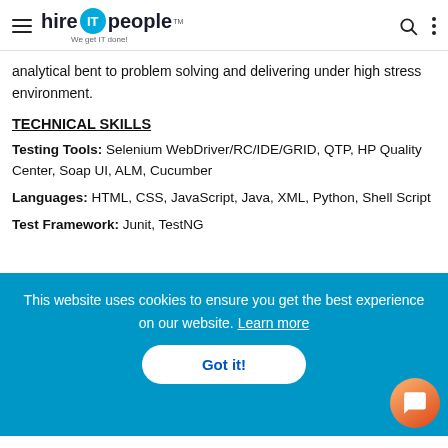hire IT people — We get IT done!
analytical bent to problem solving and delivering under high stress environment.
TECHNICAL SKILLS
Testing Tools: Selenium WebDriver/RC/IDE/GRID, QTP, HP Quality Center, Soap UI, ALM, Cucumber
Languages: HTML, CSS, JavaScript, Java, XML, Python, Shell Script
Test Framework: Junit, TestNG
This website uses cookies to ensure you get the best experience on our website. Learn more
Got it!
Control